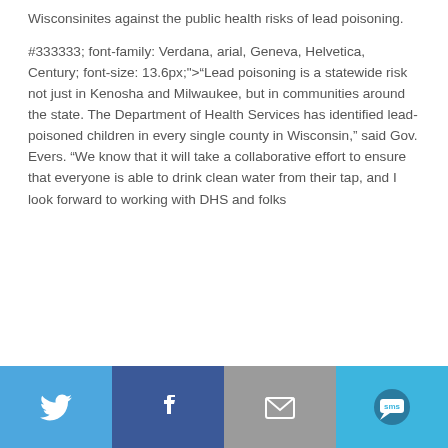Wisconsinites against the public health risks of lead poisoning.

#333333; font-family: Verdana, arial, Geneva, Helvetica, Century; font-size: 13.6px;">“Lead poisoning is a statewide risk not just in Kenosha and Milwaukee, but in communities around the state. The Department of Health Services has identified lead-poisoned children in every single county in Wisconsin,” said Gov. Evers. “We know that it will take a collaborative effort to ensure that everyone is able to drink clean water from their tap, and I look forward to working with DHS and folks
[Figure (infographic): Social sharing bar with four buttons: Twitter (blue bird icon), Facebook (dark blue f icon), Email (gray envelope icon), SMS (light blue SMS icon)]